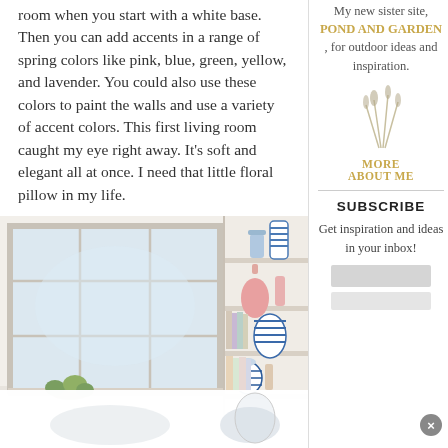room when you start with a white base. Then you can add accents in a range of spring colors like pink, blue, green, yellow, and lavender. You could also use these colors to paint the walls and use a variety of accent colors. This first living room caught my eye right away. It's soft and elegant all at once. I need that little floral pillow in my life.
[Figure (photo): Interior living room photo showing large white grid windows with natural light, and built-in white bookshelves with decorative items including a pink vase, blue and white striped vase, pastel books, and blue and white ginger jar.]
My new sister site, POND AND GARDEN, for outdoor ideas and inspiration.
MORE ABOUT ME
SUBSCRIBE
Get inspiration and ideas in your inbox!